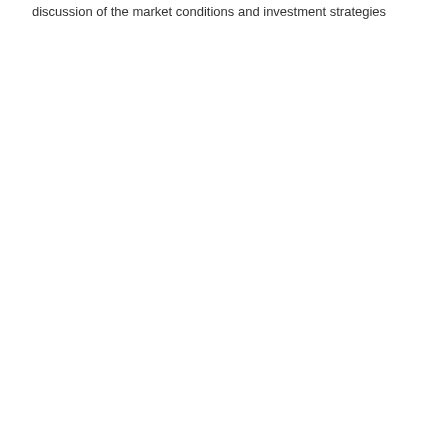discussion of the market conditions and investment strategies